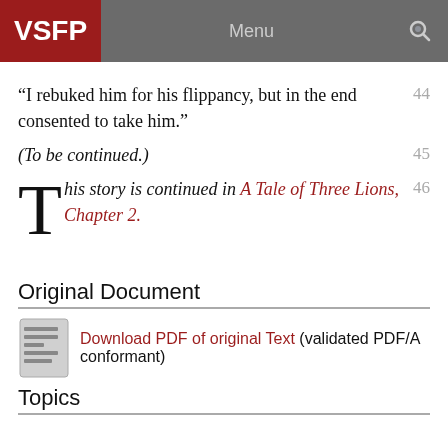VSFP | Menu
“I rebuked him for his flippancy, but in the end consented to take him.”
(To be continued.)
This story is continued in A Tale of Three Lions, Chapter 2.
Original Document
Download PDF of original Text (validated PDF/A conformant)
Topics